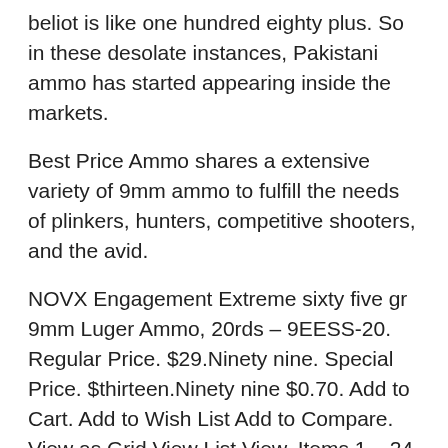beliot is like one hundred eighty plus. So in these desolate instances, Pakistani ammo has started appearing inside the markets.
Best Price Ammo shares a extensive variety of 9mm ammo to fulfill the needs of plinkers, hunters, competitive shooters, and the avid.
NOVX Engagement Extreme sixty five gr 9mm Luger Ammo, 20rds – 9EESS-20. Regular Price. $29.Ninety nine. Special Price. $thirteen.Ninety nine $0.70. Add to Cart. Add to Wish List Add to Compare. View as Grid View List View. Items 1 – 24 of 391.
9mm ammo costs. Home Shop 9mm ammo